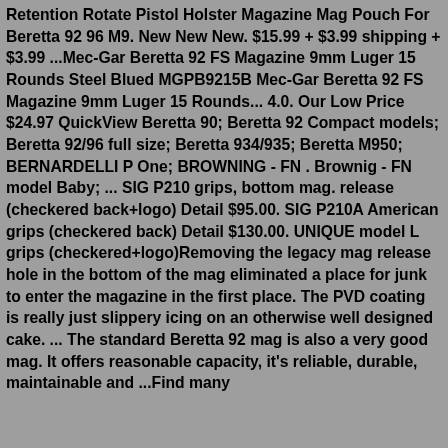Retention Rotate Pistol Holster Magazine Mag Pouch For Beretta 92 96 M9. New New New. $15.99 + $3.99 shipping + $3.99 ...Mec-Gar Beretta 92 FS Magazine 9mm Luger 15 Rounds Steel Blued MGPB9215B Mec-Gar Beretta 92 FS Magazine 9mm Luger 15 Rounds... 4.0. Our Low Price $24.97 QuickView Beretta 90; Beretta 92 Compact models; Beretta 92/96 full size; Beretta 934/935; Beretta M950; BERNARDELLI P One; BROWNING - FN . Brownig - FN model Baby; ... SIG P210 grips, bottom mag. release (checkered back+logo) Detail $95.00. SIG P210A American grips (checkered back) Detail $130.00. UNIQUE model L grips (checkered+logo)Removing the legacy mag release hole in the bottom of the mag eliminated a place for junk to enter the magazine in the first place. The PVD coating is really just slippery icing on an otherwise well designed cake. ... The standard Beretta 92 mag is also a very good mag. It offers reasonable capacity, it's reliable, durable, maintainable and ...Find many